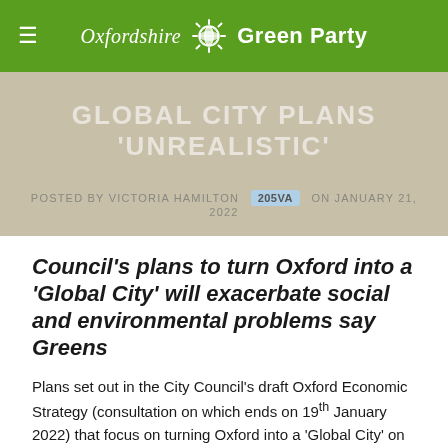Oxfordshire Green Party
GLOBAL CITY PLANS 'UNREALISTIC'
POSTED BY VICTORIA HAMILTON  205VA  ON JANUARY 21, 2022
Council's plans to turn Oxford into a 'Global City' will exacerbate social and environmental problems say Greens
Plans set out in the City Council's draft Oxford Economic Strategy (consultation on which ends on 19th January 2022) that focus on turning Oxford into a 'Global City' on a par with places such as London, Paris and Rome are unrealistic say the Greens and will only make existing